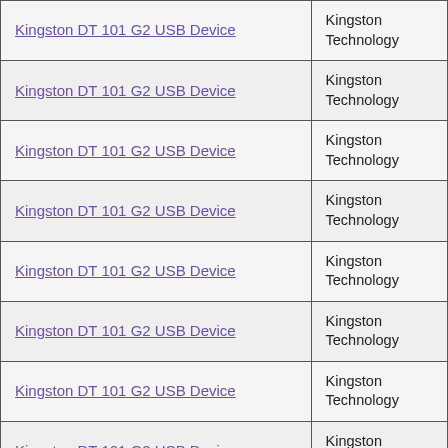| Kingston DT 101 G2 USB Device | Kingston Technology |
| Kingston DT 101 G2 USB Device | Kingston Technology |
| Kingston DT 101 G2 USB Device | Kingston Technology |
| Kingston DT 101 G2 USB Device | Kingston Technology |
| Kingston DT 101 G2 USB Device | Kingston Technology |
| Kingston DT 101 G2 USB Device | Kingston Technology |
| Kingston DT 101 G2 USB Device | Kingston Technology |
| Kingston DT 101 G2 USB Device | Kingston Technology |
| Kingston DT 101 G2 USB Device | Kingston Technology |
| Kingston DT 101 G2 USB Device | Kingston Technology |
| Kingston DT 101 G2 USB Device | Kingston Technology |